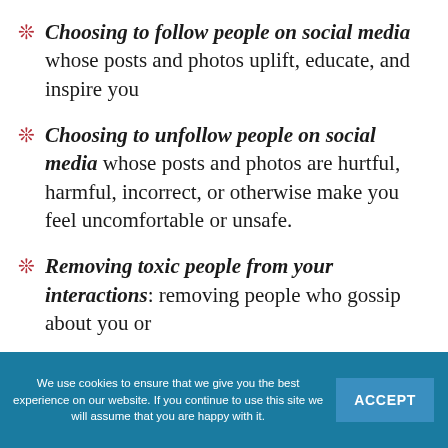Choosing to follow people on social media whose posts and photos uplift, educate, and inspire you
Choosing to unfollow people on social media whose posts and photos are hurtful, harmful, incorrect, or otherwise make you feel uncomfortable or unsafe.
Removing toxic people from your interactions: removing people who gossip about you or
We use cookies to ensure that we give you the best experience on our website. If you continue to use this site we will assume that you are happy with it.